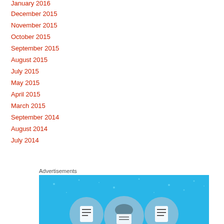January 2016
December 2015
November 2015
October 2015
September 2015
August 2015
July 2015
May 2015
April 2015
March 2015
September 2014
August 2014
July 2014
Advertisements
[Figure (illustration): Advertisement banner with blue background showing three circular icons with document/book illustrations and star dot decorations]